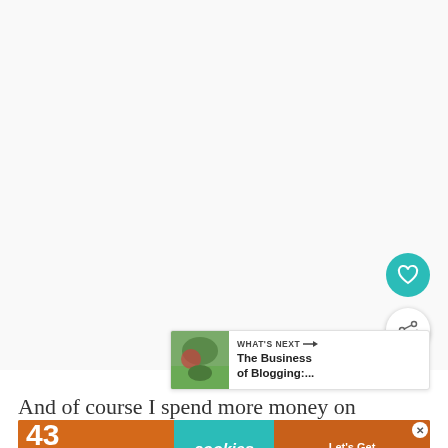[Figure (screenshot): Large blank white/light grey content area occupying upper portion of the page, representing a webpage screenshot with a blank main content area]
[Figure (other): Teal circular heart (favorite) button on the right side]
[Figure (other): White circular share button with share icon on the right side]
[Figure (other): What's Next panel showing thumbnail image and text 'WHAT'S NEXT → The Business of Blogging:...']
And of course I spend more money on traveling,
to
[Figure (other): Advertisement banner: '43 CHILDREN A Day Are Diagnosed With Cancer in the U.S.' | 'cookies for kids cancer' | 'Let's Get Baking' with close X button]
shi